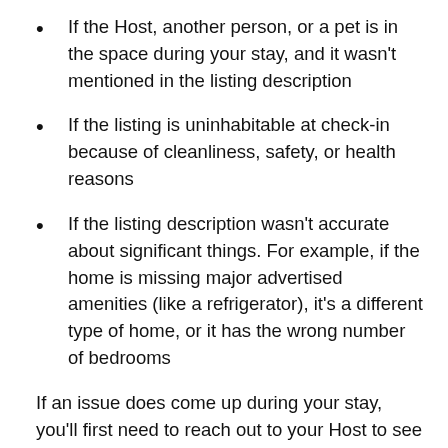If the Host, another person, or a pet is in the space during your stay, and it wasn’t mentioned in the listing description
If the listing is uninhabitable at check-in because of cleanliness, safety, or health reasons
If the listing description wasn’t accurate about significant things. For example, if the home is missing major advertised amenities (like a refrigerator), it’s a different type of home, or it has the wrong number of bedrooms
If an issue does come up during your stay, you’ll first need to reach out to your Host to see if they can easily resolve it. If they can’t, just contact us within 72 hours of discovering the problem. If you find the issue, you should also